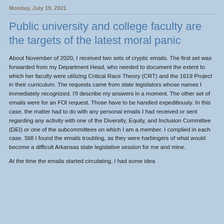Monday, July 19, 2021
Public university and college faculty are the targets of the latest moral panic
About November of 2020, I received two sets of cryptic emails. The first set was forwarded from my Department Head, who needed to document the extent to which her faculty were utilizing Critical Race Theory (CRT) and the 1619 Project in their curriculum. The requests came from state legislators whose names I immediately recognized. I'll describe my answers in a moment. The other set of emails were for an FOI request. Those have to be handled expeditiously. In this case, the matter had to do with any personal emails I had received or sent regarding any activity with one of the Diversity, Equity, and Inclusion Committee (DEI) or one of the subcommittees on which I am a member. I complied in each case. Still I found the emails troubling, as they were harbingers of what would become a difficult Arkansas state legislative session for me and mine.
At the time the emails started circulating, I had some idea...